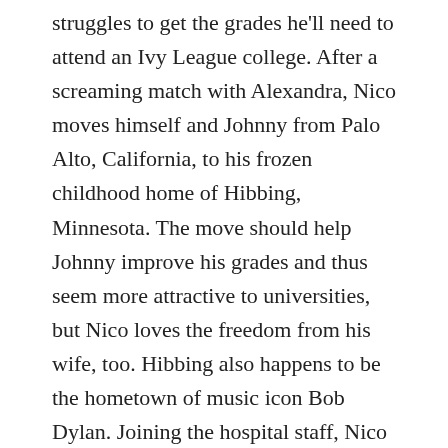struggles to get the grades he'll need to attend an Ivy League college. After a screaming match with Alexandra, Nico moves himself and Johnny from Palo Alto, California, to his frozen childhood home of Hibbing, Minnesota. The move should help Johnny improve his grades and thus seem more attractive to universities, but Nico loves the freedom from his wife, too. Hibbing also happens to be the hometown of music icon Bob Dylan. Joining the hospital staff, Nico runs afoul of a grouchy nurse anesthetist calling himself Bobby Dylan, who plays Dylan songs twice a week in a bar called Heaven's Door. As Nico and Johnny settle in, their lives turn around; they even start dating the gorgeous mother/daughter pair of Lena and Echo Johnson. However, when Johnny accidentally impregnates Echo, the lives of the Hibbing transplants start to implode. In true page-turner